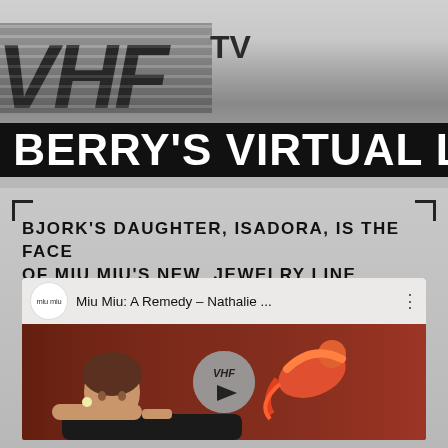[Figure (logo): VHF TV logo in bold italic font on metallic silver gradient background]
BERRY'S VIRTUAL L
BJORK'S DAUGHTER, ISADORA, IS THE FACE OF MIU MIU'S NEW JEWELRY LINE
[Figure (screenshot): YouTube video thumbnail for 'Miu Miu: A Remedy - Nathalie...' showing a girl lying down with a colorful bird, with VHF play button overlay. Channel icon shows 'miu miu' logo.]